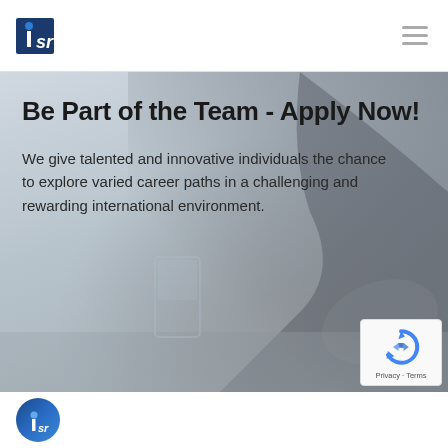[Figure (logo): ISR company logo — white rectangle with dark blue square containing stylized 'isr' text with a blue dot]
Be Part of the Team - Apply Now!
We give talented and innovative individuals the chance to explore varied career paths in a challenging and rewarding international environment.
[Figure (photo): Blurred background photo of a person in a dark suit with hands clasped on a table, a glass of water visible, muted blue-grey tones]
[Figure (other): Google reCAPTCHA badge in bottom right corner, showing reCAPTCHA icon with Privacy - Terms text]
[Figure (logo): Partial ISR logo circle at bottom left of page]